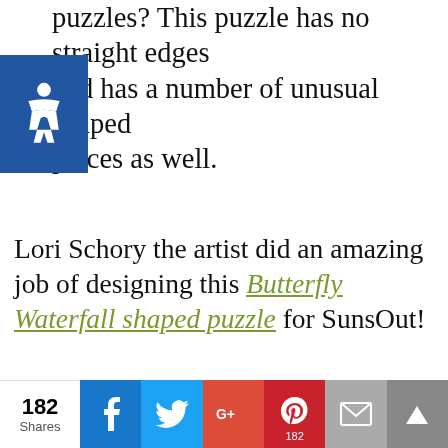puzzles? This puzzle has no straight edges and has a number of unusual shaped pieces as well.
Lori Schory the artist did an amazing job of designing this Butterfly Waterfall shaped puzzle for SunsOut!
This website uses cookies
This website uses cookies to improve your experience. We'll assume you're ok with this, but you can opt-out if you wish.